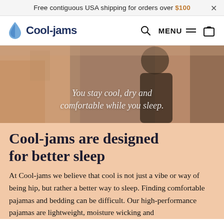Free contiguous USA shipping for orders over $100  ×
[Figure (logo): Cool-jams logo with blue water drop icon and bold navy text 'Cool-jams', navigation icons for search, MENU hamburger, and cart bag]
[Figure (photo): Hero image of a person in dark sleepwear in a warm-toned bedroom setting, with overlaid italic text: 'You stay cool, dry and comfortable while you sleep.']
Cool-jams are designed for better sleep
At Cool-jams we believe that cool is not just a vibe or way of being hip, but rather a better way to sleep. Finding comfortable pajamas and bedding can be difficult. Our high-performance pajamas are lightweight, moisture wicking and